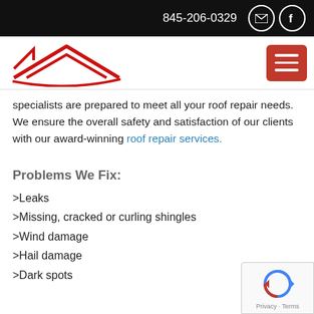845-206-0329
[Figure (logo): Red roofing company logo with abstract roof/arrow shapes and a red swoosh]
specialists are prepared to meet all your roof repair needs. We ensure the overall safety and satisfaction of our clients with our award-winning roof repair services.
Problems We Fix:
>Leaks
>Missing, cracked or curling shingles
>Wind damage
>Hail damage
>Dark spots
[Figure (logo): reCAPTCHA badge with spinning arrows icon and Privacy - Terms text]